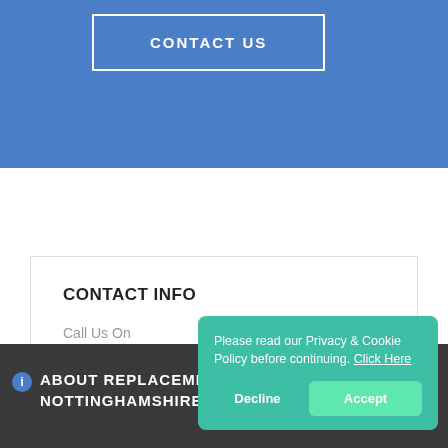[Figure (screenshot): Blue banner with CONTACT US button in white outlined rectangle]
CONTACT INFO
Call Us On
0115 824 4006
ABOUT REPLACEMENT NOTTINGHAMSHIRE
Please read our Privacy & Cookie Policy before continuing. Click Here
Decline
Accept